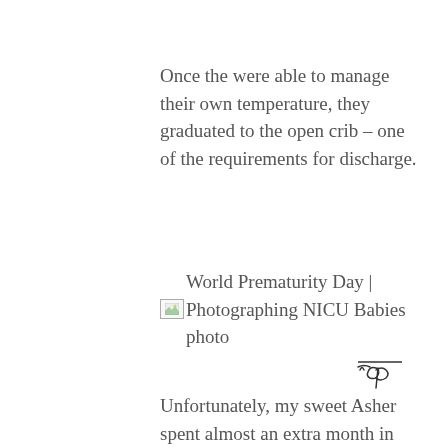Once the were able to manage their own temperature, they graduated to the open crib – one of the requirements for discharge.
[Figure (other): Broken image placeholder with alt text: World Prematurity Day | Photographing NICU Babies photo]
[Figure (other): Handwritten cursive 'Top' with a horizontal line above it, functioning as a decorative top/scroll element]
Unfortunately, my sweet Asher spent almost an extra month in the ICN after